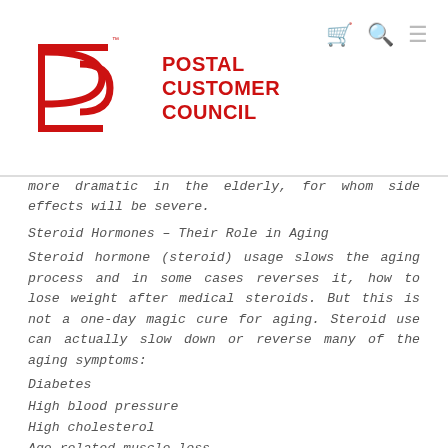Postal Customer Council
more dramatic in the elderly, for whom side effects will be severe.
Steroid Hormones – Their Role in Aging
Steroid hormone (steroid) usage slows the aging process and in some cases reverses it, how to lose weight after medical steroids. But this is not a one-day magic cure for aging. Steroid use can actually slow down or reverse many of the aging symptoms:
Diabetes
High blood pressure
High cholesterol
Age-related muscle loss
Cancer
Increased risk for heart damage
Insulin resistance